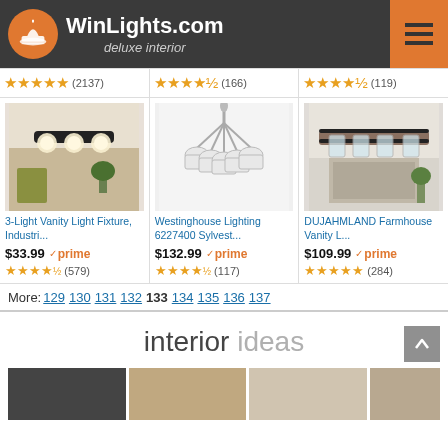WinLights.com deluxe interior
★★★★★ (2137)  ★★★★½ (166)  ★★★★½ (119)
[Figure (photo): 3-Light Vanity Light Fixture industrial style product photo]
3-Light Vanity Light Fixture, Industri...
$33.99 prime ★★★★½ (579)
[Figure (photo): Westinghouse Lighting 6227400 Sylvest chandelier product photo]
Westinghouse Lighting 6227400 Sylvest...
$132.99 prime ★★★★½ (117)
[Figure (photo): DUJAHMLAND Farmhouse Vanity Light product photo]
DUJAHMLAND Farmhouse Vanity L...
$109.99 prime ★★★★★ (284)
More: 129 130 131 132 133 134 135 136 137
interior ideas
[Figure (photo): Bottom strip of interior idea thumbnail images]